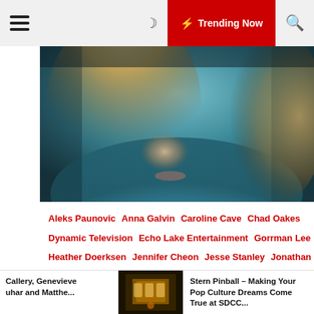☰  🌙  ⚡ Trending Now  🔍
[Figure (photo): Close-up photo of a blonde woman with flowing hair, wearing a teal floral top, cropped to show face and upper body.]
Aleks Paunovic   Anna Galvin   Caroline Cave   Chad Oakes   Dynamic Television   Echo Lake Entertainment   Gorrman Lee   Heather Doerksen   Jennifer Cheon   Jesse Stanley   Jonathan Lloyd Walker   Jonathan Scarfe   Keeya King   Kelly Overton   Kim Coates   Luvia Petersen   Mike Frislev   Neil LaBute   Nicole Muñoz   Nomadic Pictures   Rukiya Bernard   SYFY   Tricia Helfer   Van Helsing   Van Helsing S5x04 State Of the Union
Van Helsing Review Back to the Future in State of the Union!
Callery, Genevieve uhar and Matthe...   [thumbnail image]   Stern Pinball – Making Your Pop Culture Dreams Come True at SDCC...